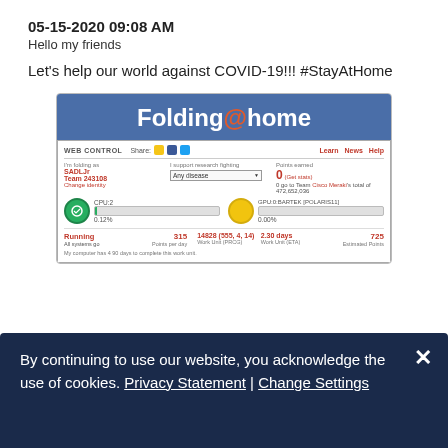05-15-2020 09:08 AM
Hello my friends
Let's help our world against COVID-19!!! #StayAtHome
[Figure (screenshot): Screenshot of Folding@home web control interface showing user SADLJr, Team 243108, CPU at 0.12%, GPU at 0.00%, Running status, 315 Points per day, Work Unit 14828 (555,4,14), 2.30 days Work Unit ETA, 725 Estimated Points]
By continuing to use our website, you acknowledge the use of cookies. Privacy Statement | Change Settings